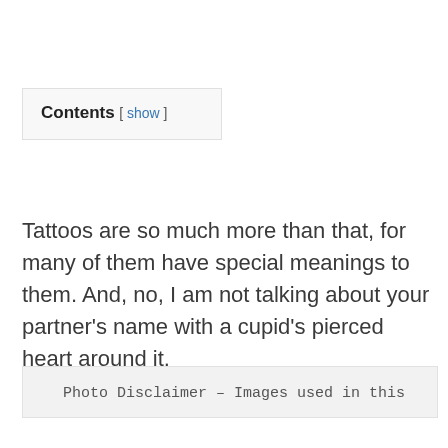| Contents [ show ] |
Tattoos are so much more than that, for many of them have special meanings to them. And, no, I am not talking about your partner's name with a cupid's pierced heart around it.
Photo Disclaimer – Images used in this